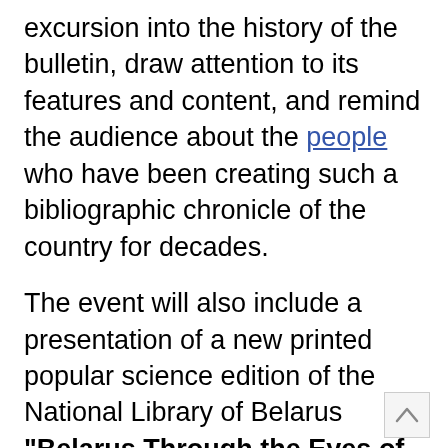excursion into the history of the bulletin, draw attention to its features and content, and remind the audience about the people who have been creating such a bibliographic chronicle of the country for decades.
The event will also include a presentation of a new printed popular science edition of the National Library of Belarus "Belarus Through the Eyes of a Bibliographer", prepared on the basis of the bulletin. The book contains information about the events of national history, ancient